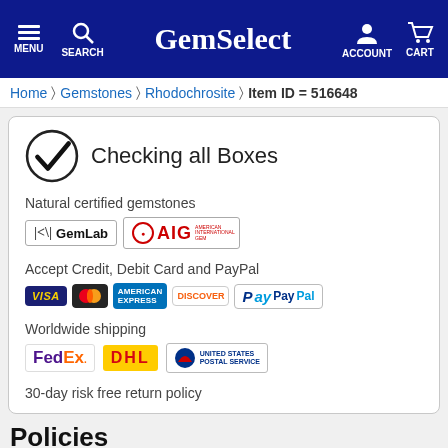GemSelect — MENU SEARCH ACCOUNT CART
Home  Gemstones  Rhodochrosite  Item ID = 516648
Checking all Boxes
Natural certified gemstones
[Figure (logo): GemLab and AIG certification logos]
Accept Credit, Debit Card and PayPal
[Figure (logo): Visa, Mastercard, American Express, Discover, PayPal payment logos]
Worldwide shipping
[Figure (logo): FedEx, DHL, United States Postal Service shipping logos]
30-day risk free return policy
Policies
[Figure (screenshot): Social sharing buttons: Like, Share, Save, Tweet]